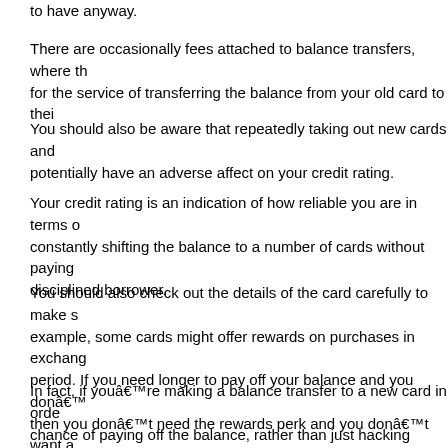to have anyway.
There are occasionally fees attached to balance transfers, where the new card company charges you for the service of transferring the balance from your old card to their card.
You should also be aware that repeatedly taking out new cards and transferring balances could potentially have an adverse affect on your credit rating.
Your credit rating is an indication of how reliable you are in terms of paying your debts, and constantly shifting the balance to a number of cards without paying them off doesn’t mark you as a disciplined borrower.
You should also check out the details of the card carefully to make sure it suits your needs. For example, some cards might offer rewards on purchases in exchange for a shorter interest free period. If you need longer to pay off your balance and you don’t need the rewards, then you don’t need the rewards perk and you don’t want a shorter interest free period.
In fact, if you’re making a balance transfer to a new card in order to give yourself the best chance of paying off the balance, rather than just hacking away at the interest, then you’re well advised not to make any purchases on the new card at all.